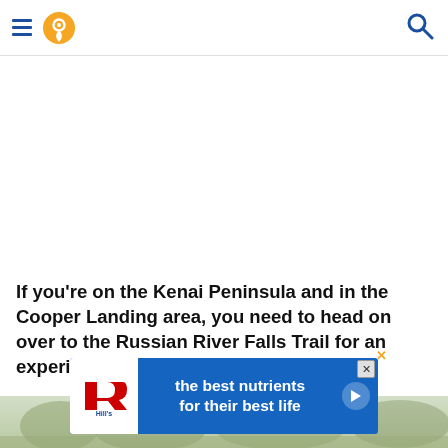Navigation header with hamburger menu, location pin icon, and search icon
If you're on the Kenai Peninsula and in the Cooper Landing area, you need to head on over to the Russian River Falls Trail for an experience you won't want to miss.
[Figure (other): Hill's pet nutrition advertisement banner: 'the best nutrients for their best life' on blue background with Hill's logo]
[Figure (photo): Outdoor nature/forest scene at bottom of page]